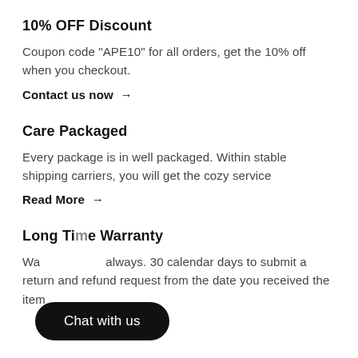10% OFF Discount
Coupon code "APE10" for all orders, get the 10% off when you checkout.
Contact us now →
Care Packaged
Every package is in well packaged. Within stable shipping carriers, you will get the cozy service
Read More →
Long Time Warranty
Wa... always. 30 calendar days to submit a return and refund request from the date you received the item
[Figure (other): Black rounded chat bubble button with text 'Chat with us']